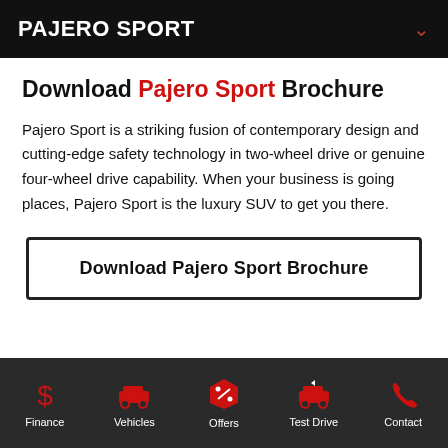PAJERO SPORT
Download Pajero Sport Brochure
Pajero Sport is a striking fusion of contemporary design and cutting-edge safety technology in two-wheel drive or genuine four-wheel drive capability. When your business is going places, Pajero Sport is the luxury SUV to get you there.
Download Pajero Sport Brochure
Finance | Vehicles | Offers | Test Drive | Contact